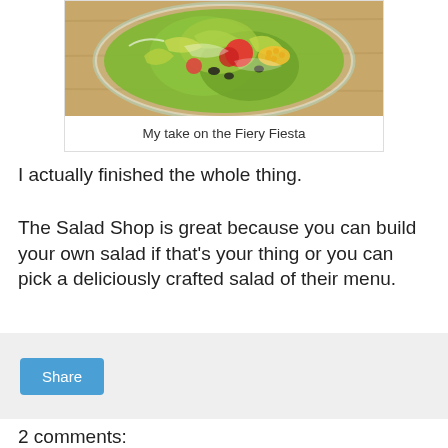[Figure (photo): Top-down photo of a salad in a clear bowl on a wooden surface, showing lettuce, tomatoes, corn, black beans, and other colorful toppings]
My take on the Fiery Fiesta
I actually finished the whole thing.
The Salad Shop is great because you can build your own salad if that's your thing or you can pick a deliciously crafted salad of their menu.
Share
2 comments: